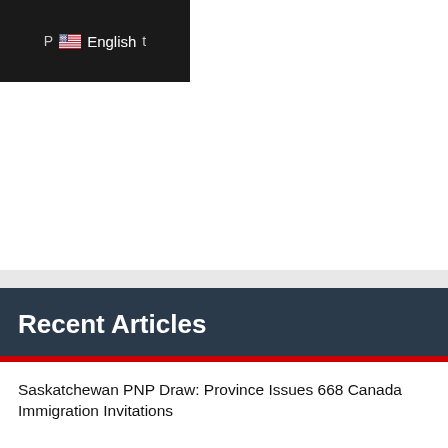[Figure (screenshot): Dark navigation bar with US flag icon and 'English' language selector text visible, partial text on left and right edges]
Recent Articles
Saskatchewan PNP Draw: Province Issues 668 Canada Immigration Invitations
Use Of South Asian Languages Growing In Canada Due To Immigration
Canada Conducts Largest Express Entry Draw Since Resumption, CRS Drops Again
Ontario Invites 28 Canada Immigration Candidates In New